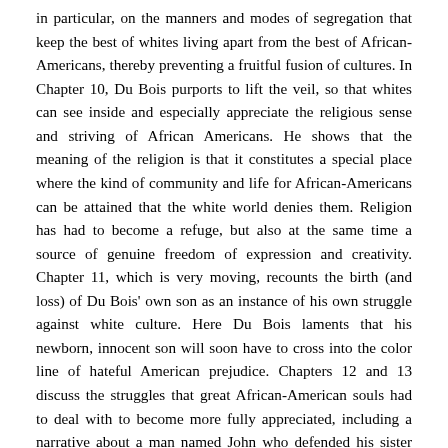in particular, on the manners and modes of segregation that keep the best of whites living apart from the best of African-Americans, thereby preventing a fruitful fusion of cultures. In Chapter 10, Du Bois purports to lift the veil, so that whites can see inside and especially appreciate the religious sense and striving of African Americans. He shows that the meaning of the religion is that it constitutes a special place where the kind of community and life for African-Americans can be attained that the white world denies them. Religion has had to become a refuge, but also at the same time a source of genuine freedom of expression and creativity. Chapter 11, which is very moving, recounts the birth (and loss) of Du Bois' own son as an instance of his own struggle against white culture. Here Du Bois laments that his newborn, innocent son will soon have to cross into the color line of hateful American prejudice. Chapters 12 and 13 discuss the struggles that great African-American souls had to deal with to become more fully appreciated, including a narrative about a man named John who defended his sister against dishonor only to be met with horrible racism as a result.